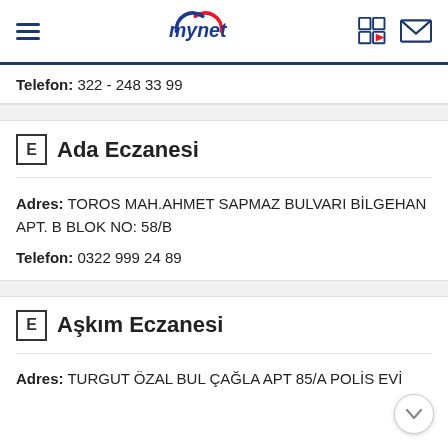mynet
Telefon: 322 - 248 33 99
E Ada Eczanesi
Adres: TOROS MAH.AHMET SAPMAZ BULVARI BİLGEHAN APT. B BLOK NO: 58/B
Telefon: 0322 999 24 89
E Aşkım Eczanesi
Adres: TURGUT ÖZAL BUL ÇAĞLA APT 85/A POLİS EVİ